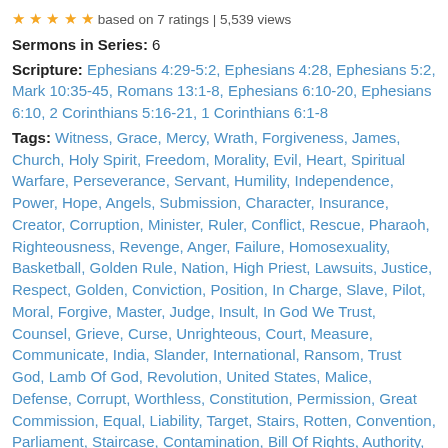★★★★★ based on 7 ratings | 5,539 views
Sermons in Series: 6
Scripture: Ephesians 4:29-5:2, Ephesians 4:28, Ephesians 5:2, Mark 10:35-45, Romans 13:1-8, Ephesians 6:10-20, Ephesians 6:10, 2 Corinthians 5:16-21, 1 Corinthians 6:1-8
Tags: Witness, Grace, Mercy, Wrath, Forgiveness, James, Church, Holy Spirit, Freedom, Morality, Evil, Heart, Spiritual Warfare, Perseverance, Servant, Humility, Independence, Power, Hope, Angels, Submission, Character, Insurance, Creator, Corruption, Minister, Ruler, Conflict, Rescue, Pharaoh, Righteousness, Revenge, Anger, Failure, Homosexuality, Basketball, Golden Rule, Nation, High Priest, Lawsuits, Justice, Respect, Golden, Conviction, Position, In Charge, Slave, Pilot, Moral, Forgive, Master, Judge, Insult, In God We Trust, Counsel, Grieve, Curse, Unrighteous, Court, Measure, Communicate, India, Slander, International, Ransom, Trust God, Lamb Of God, Revolution, United States, Malice, Defense, Corrupt, Worthless, Constitution, Permission, Great Commission, Equal, Liability, Target, Stairs, Rotten, Convention, Parliament, Staircase, Contamination, Bill Of Rights, Authority, King George, Belittle, Reinstatement, Avenge, Peter Marshall, Warship, Mediation, Kenya, Revile, Harbor, Wicked, Image Of God, Upset, Fiddler